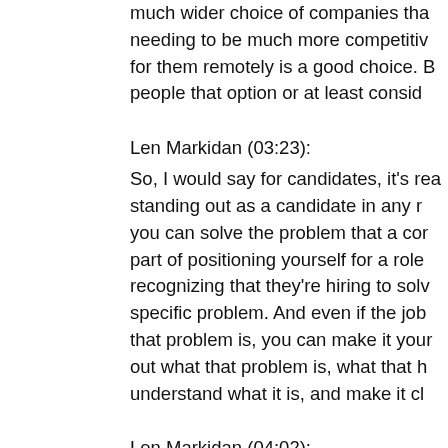much wider choice of companies tha needing to be much more competitiv for them remotely is a good choice. B people that option or at least consid
Len Markidan (03:23): So, I would say for candidates, it's rea standing out as a candidate in any r you can solve the problem that a cor part of positioning yourself for a role recognizing that they're hiring to solv specific problem. And even if the job that problem is, you can make it your out what that problem is, what that understand what it is, and make it cl
Len Markidan (04:02):